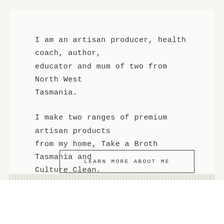I am an artisan producer, health coach, author, educator and mum of two from North West Tasmania.
I make two ranges of premium artisan products from my home, Take a Broth Tasmania and Culture Clean.
LEARN MORE ABOUT ME